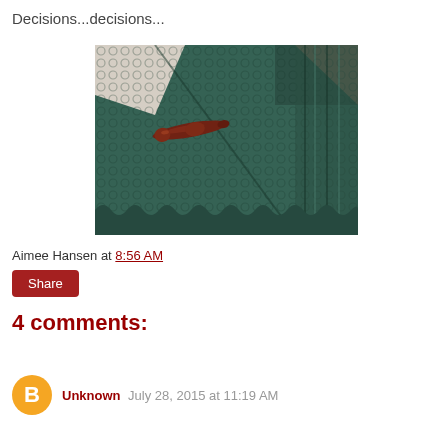Decisions...decisions...
[Figure (photo): Close-up photo of a dark teal/green crocheted shawl or garment with a dark red wooden pin or brooch shaped like a leaf/spindle, with a white fabric visible in the upper left corner.]
Aimee Hansen at 8:56 AM
Share
4 comments:
Unknown  July 28, 2015 at 11:19 AM